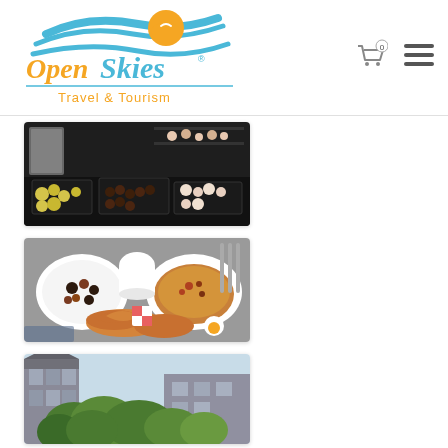[Figure (logo): Open Skies Travel & Tourism logo with sun and wave graphic above the text]
[Figure (photo): Overhead view of a dessert buffet spread with pastries, chocolates, and small cakes on dark trays]
[Figure (photo): Overhead view of a breakfast table with croissants, pancakes, bowls of granola/berries, and eggs]
[Figure (photo): Exterior view of a hotel or building with green trees/hedges in foreground]